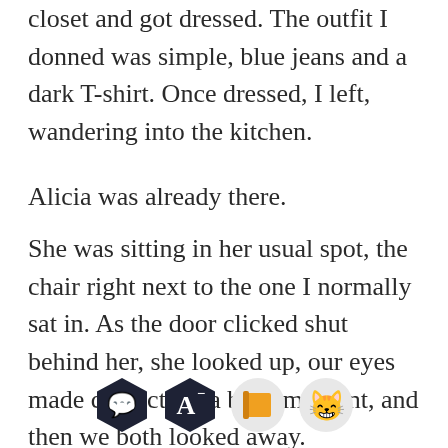closet and got dressed. The outfit I donned was simple, blue jeans and a dark T-shirt. Once dressed, I left, wandering into the kitchen.
Alicia was already there.
She was sitting in her usual spot, the chair right next to the one I normally sat in. As the door clicked shut behind her, she looked up, our eyes made contact for a brief moment, and then we both looked away.
[Figure (other): Toolbar row with four icons: dark hexagon chat bubble, dark hexagon letter A with superscript dash, light circle orange book, light circle smiling emoji face]